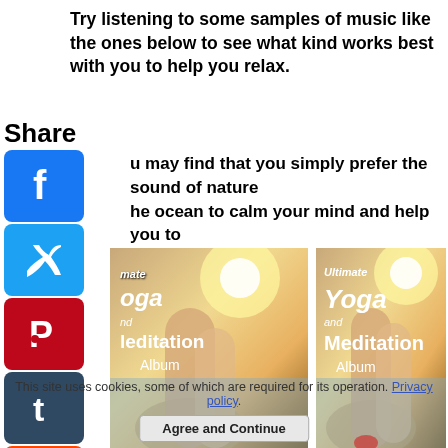Try listening to some samples of music like the ones below to see what kind works best with you to help you relax.
Share
You may find that you simply prefer the sound of nature like the ocean to calm your mind and help you to meditate
[Figure (photo): Left yoga album cover: photo of legs in yoga pose on beach at sunset with text 'Ultimate Yoga and Meditation Album' overlaid]
[Figure (photo): Right yoga album cover: same image of legs in yoga pose on beach at sunset with text 'Ultimate Yoga and Meditation Album' overlaid]
This site uses cookies, some of which are required for its operation. Privacy policy.